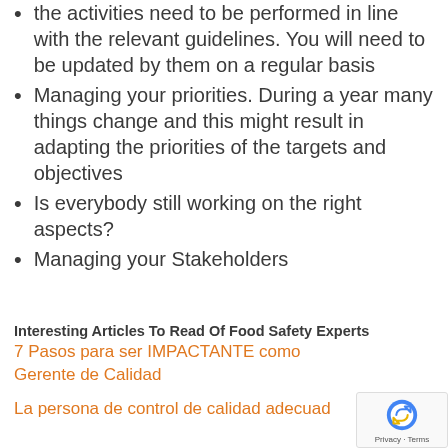the activities need to be performed in line with the relevant guidelines. You will need to be updated by them on a regular basis
Managing your priorities. During a year many things change and this might result in adapting the priorities of the targets and objectives
Is everybody still working on the right aspects?
Managing your Stakeholders
Interesting Articles To Read Of Food Safety Experts
7 Pasos para ser IMPACTANTE como Gerente de Calidad
La persona de control de calidad adecuad…